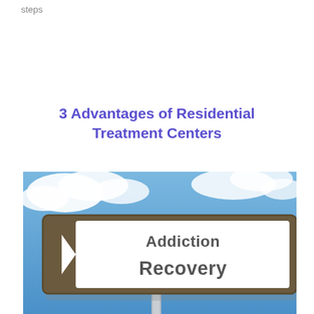steps
3 Advantages of Residential Treatment Centers
[Figure (photo): A road sign pointing left reading 'Addiction Recovery' against a blue sky with clouds, mounted on a metal pole.]